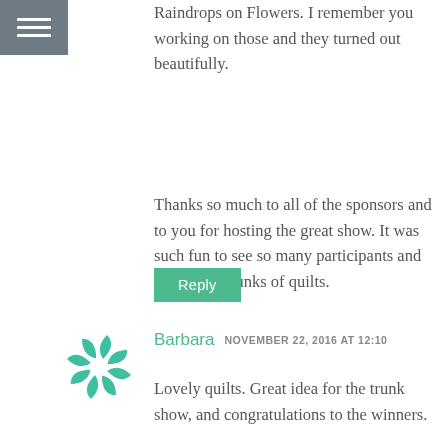[Figure (other): Hamburger menu icon — three white horizontal lines on a grey square background]
Raindrops on Flowers. I remember you working on those and they turned out beautifully.
Thanks so much to all of the sponsors and to you for hosting the great show. It was such fun to see so many participants and such great trunks of quilts.
Reply
[Figure (logo): Circular pinwheel / asterisk logo in teal/green color]
Barbara  NOVEMBER 22, 2016 AT 12:10
Lovely quilts. Great idea for the trunk show, and congratulations to the winners.